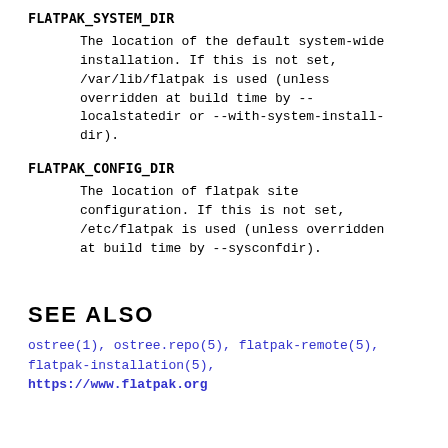FLATPAK_SYSTEM_DIR
The location of the default system-wide installation. If this is not set, /var/lib/flatpak is used (unless overridden at build time by --localstatedir or --with-system-install-dir).
FLATPAK_CONFIG_DIR
The location of flatpak site configuration. If this is not set, /etc/flatpak is used (unless overridden at build time by --sysconfdir).
SEE ALSO
ostree(1), ostree.repo(5), flatpak-remote(5), flatpak-installation(5), https://www.flatpak.org